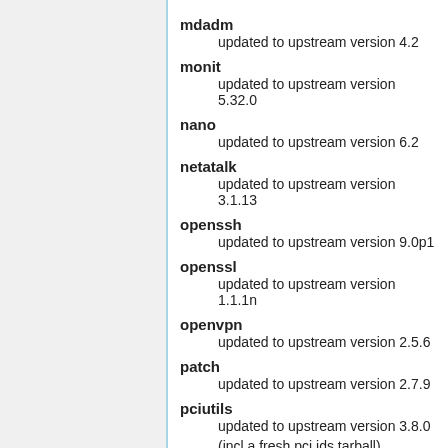mdadm
    updated to upstream version 4.2
monit
    updated to upstream version 5.32.0
nano
    updated to upstream version 6.2
netatalk
    updated to upstream version 3.1.13
openssh
    updated to upstream version 9.0p1
openssl
    updated to upstream version 1.1.1n
openvpn
    updated to upstream version 2.5.6
patch
    updated to upstream version 2.7.9
pciutils
    updated to upstream version 3.8.0
    (incl a fresh pci.ids tarball)